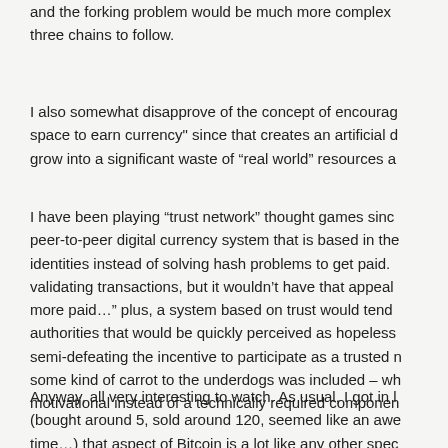and the forking problem would be much more complex three chains to follow.
I also somewhat disapprove of the concept of encouraging "space to earn currency" since that creates an artificial d grow into a significant waste of “real world” resources a
I have been playing “trust network” thought games sinc peer-to-peer digital currency system that is based in the identities instead of solving hash problems to get paid. validating transactions, but it wouldn’t have that appeal more paid…” plus, a system based on trust would tend authorities that would be quickly perceived as hopeless semi-defeating the incentive to participate as a trusted n some kind of carrot to the underdogs was included – wh motivational instead of a technically required componen
Anyway, all very interesting to watch. As usual, I got in l (bought around 5, sold around 120, seemed like an awe time…) that aspect of Bitcoin is a lot like any other spec certainly fueling interest at this stage.